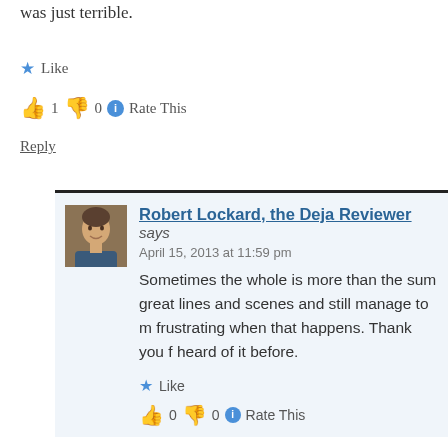was just terrible.
★ Like
👍 1 👎 0 ℹ Rate This
Reply
Robert Lockard, the Deja Reviewer says
April 15, 2013 at 11:59 pm
Sometimes the whole is more than the sum great lines and scenes and still manage to m frustrating when that happens. Thank you f heard of it before.
★ Like
👍 0 👎 0 ℹ Rate This